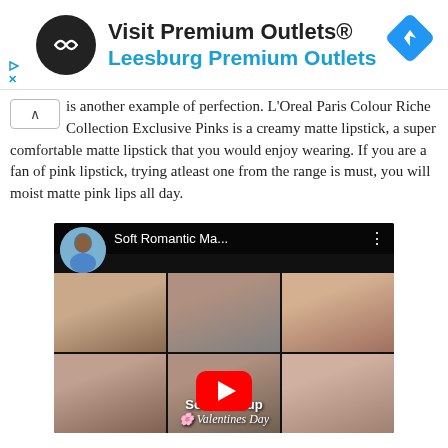[Figure (screenshot): Advertisement banner for Visit Premium Outlets® / Leesburg Premium Outlets with black circular logo and blue diamond navigation icon]
is another example of perfection. L'Oreal Paris Colour Riche Collection Exclusive Pinks is a creamy matte lipstick, a super comfortable matte lipstick that you would enjoy wearing. If you are a fan of pink lipstick, trying atleast one from the range is must, you will moist matte pink lips all day.
[Figure (screenshot): YouTube video thumbnail titled 'Soft Romantic Ma...' showing a collage of 6 photos of a woman with long hair and pink/white roses, with a YouTube play button in the center and text 'Soft Makeup Valentines Day' at the bottom]